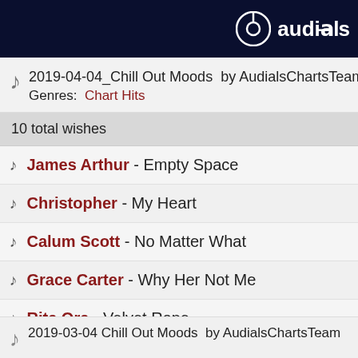audials
2019-04-04_Chill Out Moods by AudialsChartsTeam Genres: Chart Hits
10 total wishes
James Arthur - Empty Space
Christopher - My Heart
Calum Scott - No Matter What
Grace Carter - Why Her Not Me
Rita Ora - Velvet Rope
2019-03-04 Chill Out Moods by AudialsChartsTeam